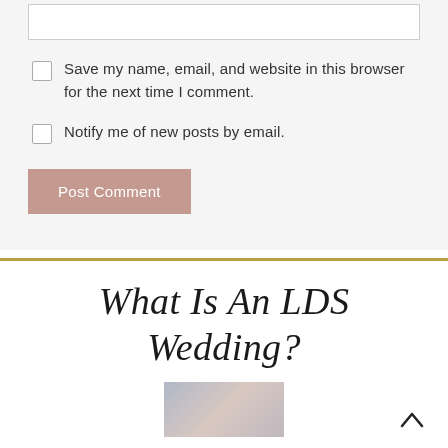Save my name, email, and website in this browser for the next time I comment.
Notify me of new posts by email.
Post Comment
What Is An LDS Wedding?
[Figure (photo): Partially visible wedding photo at the bottom of the page]